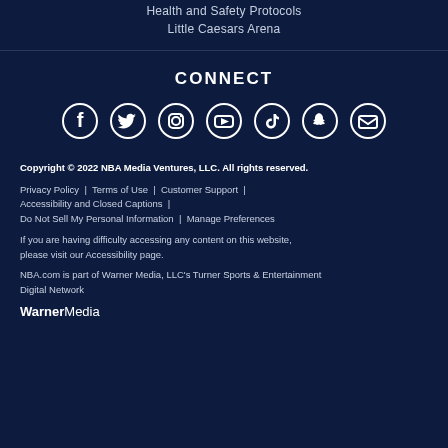Health and Safety Protocols
Little Caesars Arena
CONNECT
[Figure (infographic): Row of social media icons: Facebook, Twitter, Instagram, YouTube, TikTok, Snapchat, Email]
Copyright © 2022 NBA Media Ventures, LLC. All rights reserved.
Privacy Policy  |  Terms of Use  |  Customer Support  |  Accessibility and Closed Captions  |  Do Not Sell My Personal Information  |  Manage Preferences
If you are having difficulty accessing any content on this website, please visit our Accessibility page.
NBA.com is part of Warner Media, LLC's Turner Sports & Entertainment Digital Network
WarnerMedia